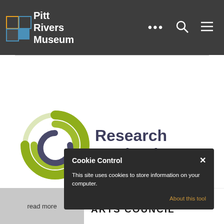Pitt Rivers Museum
[Figure (logo): Research England logo with concentric arc shapes in olive green and dark grey-blue, with 'Research England' text in dark navy]
[Figure (screenshot): Cookie Control dialog box on dark background with title 'Cookie Control', close X button, body text 'This site uses cookies to store information on your computer.', link 'About this tool']
read more
Supported using public funding by ARTS COUNCIL